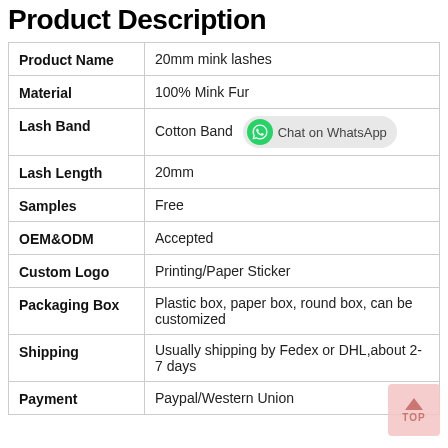Product Description
| Property | Value |
| --- | --- |
| Product Name | 20mm mink lashes |
| Material | 100% Mink Fur |
| Lash Band | Cotton Band  [Chat on WhatsApp] |
| Lash Length | 20mm |
| Samples | Free |
| OEM&ODM | Accepted |
| Custom Logo | Printing/Paper Sticker |
| Packaging Box | Plastic box, paper box, round box, can be customized |
| Shipping | Usually shipping by Fedex or DHL,about 2-7 days |
| Payment | Paypal/Western Union |